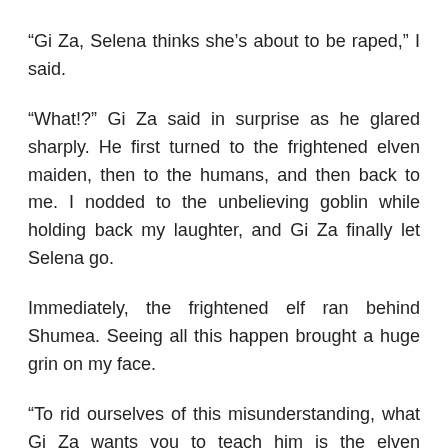“Gi Za, Selena thinks she’s about to be raped,” I said.
“What!?” Gi Za said in surprise as he glared sharply. He first turned to the frightened elven maiden, then to the humans, and then back to me. I nodded to the unbelieving goblin while holding back my laughter, and Gi Za finally let Selena go.
Immediately, the frightened elf ran behind Shumea. Seeing all this happen brought a huge grin on my face.
“To rid ourselves of this misunderstanding, what Gi Za wants you to teach him is the elven knowledge on magic.”
Gi Za nodded pitifully as I said that, while the frightened